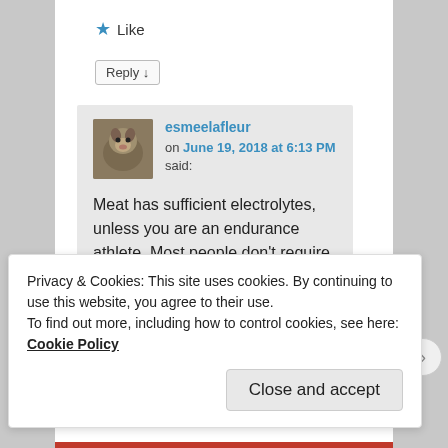★ Like
Reply ↓
esmeelafleur on June 19, 2018 at 6:13 PM said:
Meat has sufficient electrolytes, unless you are an endurance athlete. Most people don't require assistance for bowel
Privacy & Cookies: This site uses cookies. By continuing to use this website, you agree to their use.
To find out more, including how to control cookies, see here: Cookie Policy
Close and accept